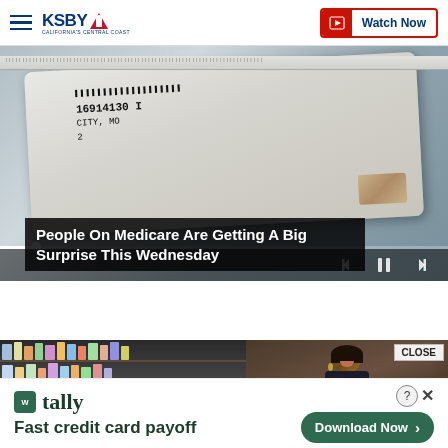KSBY - California's Central Coast | Watch Now
[Figure (screenshot): Medicare card close-up photo with video player controls and progress bar overlay]
People On Medicare Are Getting A Big Surprise This Wednesday
[Figure (photo): Pharmacy shelves with supplements on left; smiling woman in pharmacy on right. CLOSE button visible.]
[Figure (other): Tally app advertisement banner: 'Fast credit card payoff' with Download Now button]